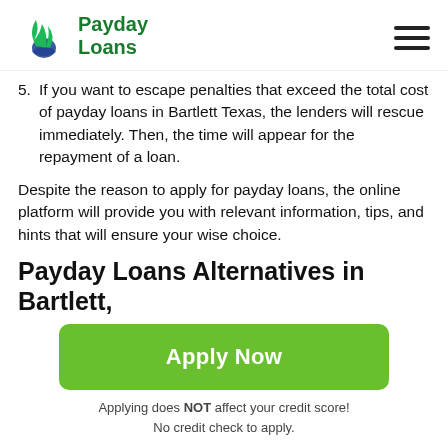Payday Loans
5. If you want to escape penalties that exceed the total cost of payday loans in Bartlett Texas, the lenders will rescue immediately. Then, the time will appear for the repayment of a loan.
Despite the reason to apply for payday loans, the online platform will provide you with relevant information, tips, and hints that will ensure your wise choice.
Payday Loans Alternatives in Bartlett,
[Figure (other): Green Apply Now button]
Applying does NOT affect your credit score!
No credit check to apply.